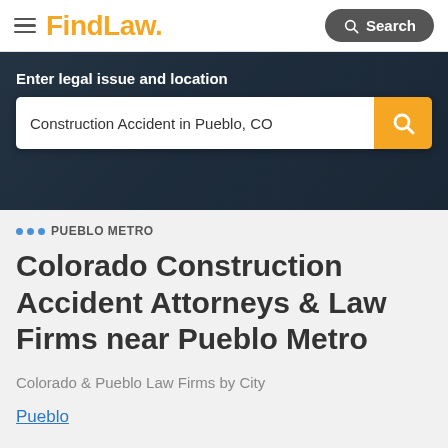FindLaw
[Figure (screenshot): FindLaw website hero banner with dark overlay and search bar showing 'Construction Accident in Pueblo, CO']
Enter legal issue and location
Construction Accident in Pueblo, CO
PUEBLO METRO
Colorado Construction Accident Attorneys & Law Firms near Pueblo Metro
Colorado & Pueblo Law Firms by City
Pueblo